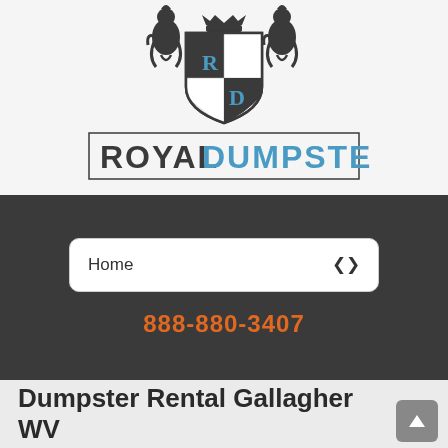[Figure (logo): Royal Dumpster logo with heraldic shield and two lions, text ROYAL DUMPSTER below]
Home
888-880-3407
Dumpster Rental Gallagher WV